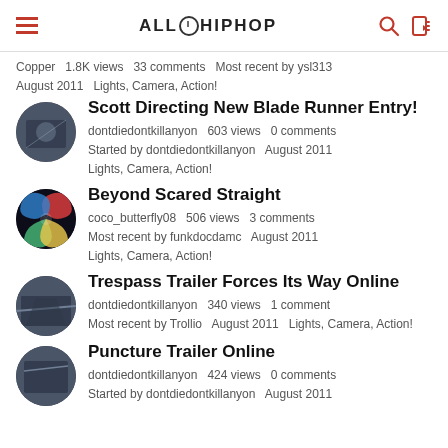ALLHIPHOP
Copper   1.8K views   33 comments   Most recent by ysl313
August 2011   Lights, Camera, Action!
Scott Directing New Blade Runner Entry!
dontdiedontkillanyon   603 views   0 comments
Started by dontdiedontkillanyon   August 2011
Lights, Camera, Action!
Beyond Scared Straight
coco_butterfly08   506 views   3 comments
Most recent by funkdocdamc   August 2011
Lights, Camera, Action!
Trespass Trailer Forces Its Way Online
dontdiedontkillanyon   340 views   1 comment
Most recent by Trollio   August 2011   Lights, Camera, Action!
Puncture Trailer Online
dontdiedontkillanyon   424 views   0 comments
Started by dontdiedontkillanyon   August 2011